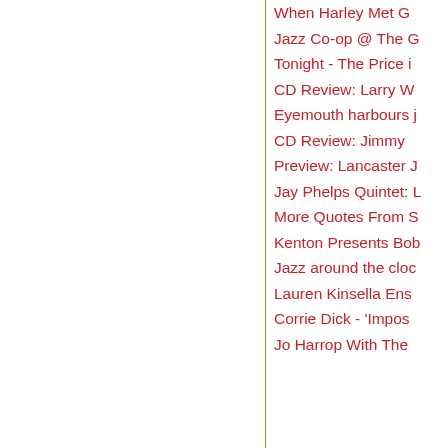When Harley Met G
Jazz Co-op @ The G
Tonight - The Price i
CD Review: Larry W
Eyemouth harbours j
CD Review: Jimmy
Preview: Lancaster J
Jay Phelps Quintet: L
More Quotes From S
Kenton Presents Bob
Jazz around the cloc
Lauren Kinsella Ens
Corrie Dick - 'Impos
Jo Harrop With The